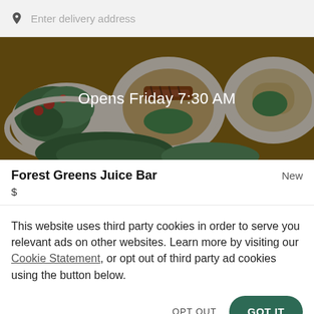Enter delivery address
[Figure (photo): Food photo showing salads and dishes on plates, darkened with overlay showing 'Opens Friday 7:30 AM']
Forest Greens Juice Bar
New
$
This website uses third party cookies in order to serve you relevant ads on other websites. Learn more by visiting our Cookie Statement, or opt out of third party ad cookies using the button below.
OPT OUT
GOT IT